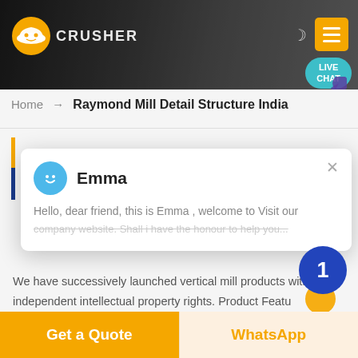[Figure (screenshot): Website header banner with dark/rocky background, orange logo icon, site name CRUSHER, moon icon, yellow menu button, and teal LIVE CHAT bubble in top right]
Home → Raymond Mill Detail Structure India
[Figure (screenshot): Live chat popup with blue avatar, agent name Emma, greeting message: Hello, dear friend, this is Emma , welcome to Visit our company website. Shall i have the honour to help you... with close X button]
We have successively launched vertical mill products with independent intellectual property rights. Product Features: Integration of multiple functions, more stable and reliable production and more excellent capacity
Get a Quote
WhatsApp